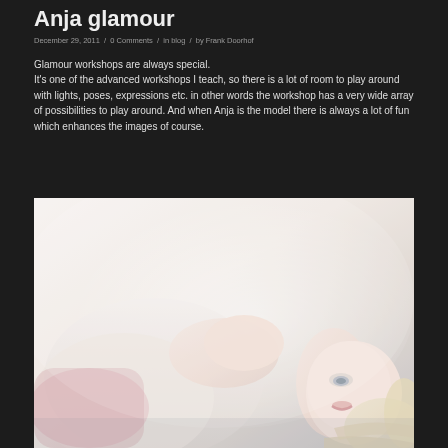Anja glamour
December 29, 2011  /  0 Comments  /  in blog  /  by Frank Doorhof
Glamour workshops are always special.
It's one of the advanced workshops I teach, so there is a lot of room to play around with lights, poses, expressions etc. in other words the workshop has a very wide array of possibilities to play around. And when Anja is the model there is always a lot of fun which enhances the images of course.
[Figure (photo): A glamour photograph of a blonde woman (Anja) lying back on a light background, shot from above. The image is high-key with soft, pale tones. The woman has light blonde hair and is wearing light-colored clothing. Her face is partially visible in the lower right portion of the image.]